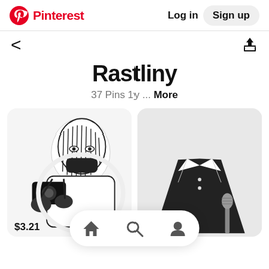Pinterest  Log in  Sign up
< (back arrow)  (share icon)
Rastliny
37 Pins 1y ... More
[Figure (screenshot): Two Pinterest pin cards: left card shows a black and white illustrated sticker of a masked figure holding a camera with price $3.21; right card shows a partial image of a headless suit/person.]
[Figure (screenshot): Bottom navigation bar with home, search, and profile icons on white pill-shaped background.]